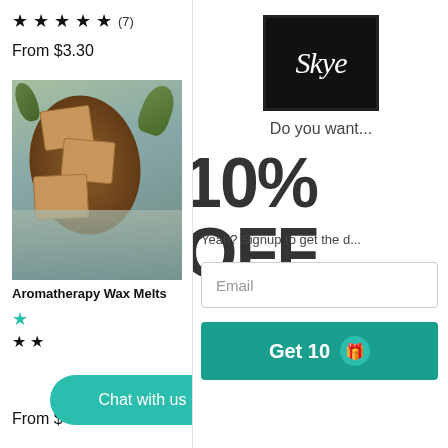★ ★ ★ ★ ★ (7)
From $3.30
[Figure (photo): Product photo of Aromatherapy Wax Melts in kraft boxes on a wooden tray with eucalyptus leaves and grey linen fabric]
Aromatherapy Wax Melts
★ ★
From $4.50
[Figure (logo): Skye brand logo — white cursive text on black square background]
Do you want...
10% OFF
Yeah? Signup to get the d...
Email
Get 10 🎁
Chat with us